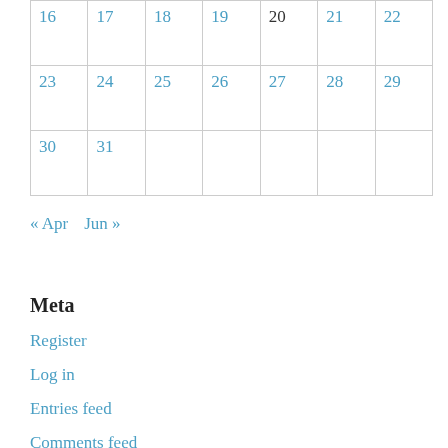| 16 | 17 | 18 | 19 | 20 | 21 | 22 |
| 23 | 24 | 25 | 26 | 27 | 28 | 29 |
| 30 | 31 |  |  |  |  |  |
« Apr   Jun »
Meta
Register
Log in
Entries feed
Comments feed